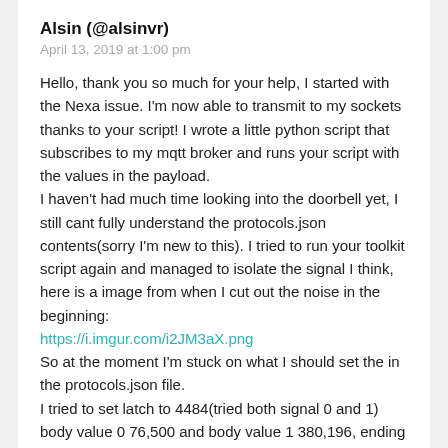Alsin (@alsinvr)
April 13, 2019 at 1:00 pm
Hello, thank you so much for your help, I started with the Nexa issue. I'm now able to transmit to my sockets thanks to your script! I wrote a little python script that subscribes to my mqtt broker and runs your script with the values in the payload.
I haven't had much time looking into the doorbell yet, I still cant fully understand the protocols.json contents(sorry I'm new to this). I tried to run your toolkit script again and managed to isolate the signal I think, here is a image from when I cut out the noise in the beginning:
https://i.imgur.com/i2JM3aX.png
So at the moment I'm stuck on what I should set the in the protocols.json file.
I tried to set latch to 4484(tried both signal 0 and 1) body value 0 76,500 and body value 1 380,196, ending empty. This is probably completely wrong though, please do different information on that...